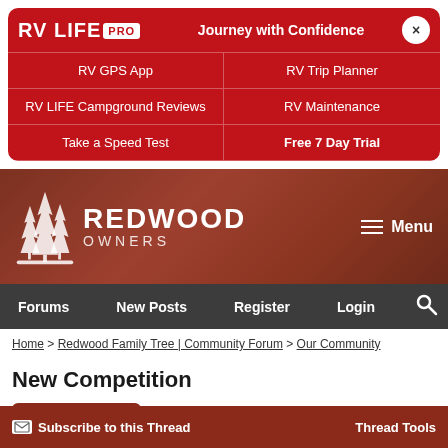[Figure (screenshot): RV LIFE PRO banner with Journey with Confidence tagline, navigation grid with RV GPS App, RV Trip Planner, RV LIFE Campground Reviews, RV Maintenance, Take a Speed Test, Free 7 Day Trial]
[Figure (logo): Redwood Owners forum header banner with redwood tree logo, Menu hamburger icon]
Forums | New Posts | Register | Login
Home > Redwood Family Tree | Community Forum > Our Community
New Competition
New Reply
Page 2 of 3   < Prev   Next >
Subscribe to this Thread   Thread Tools